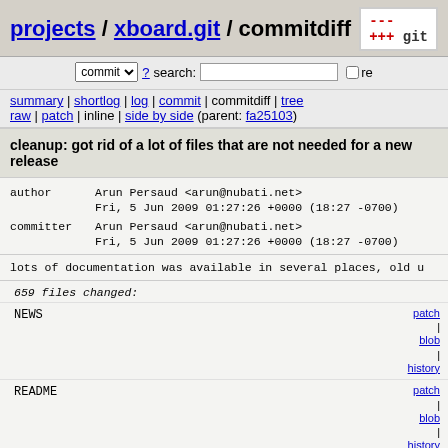projects / xboard.git / commitdiff
commit ? search: re
summary | shortlog | log | commit | commitdiff | tree
raw | patch | inline | side by side (parent: fa25103)
cleanup: got rid of a lot of files that are not needed for a new release
author      Arun Persaud <arun@nubati.net>
            Fri, 5 Jun 2009 01:27:26 +0000 (18:27 -0700)
committer   Arun Persaud <arun@nubati.net>
            Fri, 5 Jun 2009 01:27:26 +0000 (18:27 -0700)
lots of documentation was available in several places, old u
659 files changed:
| File | Status | Links |
| --- | --- | --- |
| NEWS |  | patch | blob | history |
| README |  | patch | blob | history |
| bitmaps/260px-Hanzi.svg | [deleted file] | patch | blob | history |